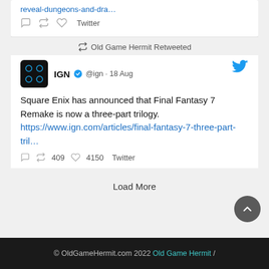reveal-dungeons-and-dra…
Twitter
Old Game Hermit Retweeted
IGN @ign · 18 Aug
Square Enix has announced that Final Fantasy 7 Remake is now a three-part trilogy. https://www.ign.com/articles/final-fantasy-7-three-part-tril…
409  4150  Twitter
Load More
© OldGameHermit.com 2022 Old Game Hermit /